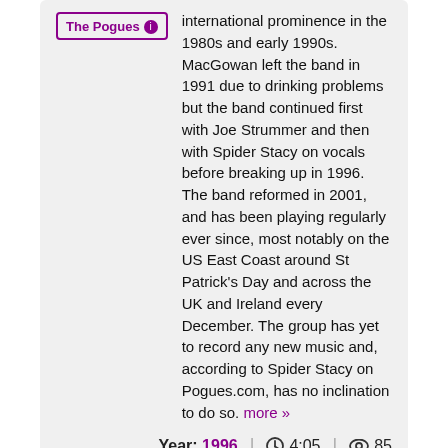The Pogues [info] ...international prominence in the 1980s and early 1990s. MacGowan left the band in 1991 due to drinking problems but the band continued first with Joe Strummer and then with Spider Stacy on vocals before breaking up in 1996. The band reformed in 2001, and has been playing regularly ever since, most notably on the US East Coast around St Patrick's Day and across the UK and Ireland every December. The group has yet to record any new music and, according to Spider Stacy on Pogues.com, has no inclination to do so. more »
Year: 1996 | 4:05 | 85